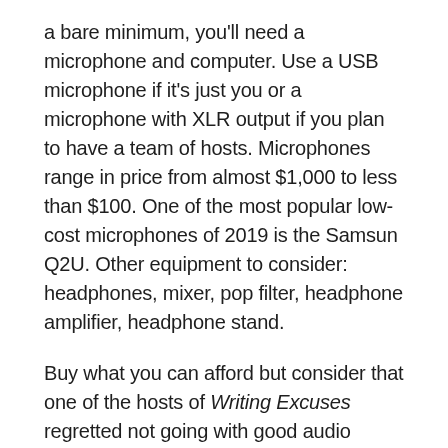a bare minimum, you'll need a microphone and computer. Use a USB microphone if it's just you or a microphone with XLR output if you plan to have a team of hosts. Microphones range in price from almost $1,000 to less than $100. One of the most popular low-cost microphones of 2019 is the Samsun Q2U. Other equipment to consider: headphones, mixer, pop filter, headphone amplifier, headphone stand.
Buy what you can afford but consider that one of the hosts of Writing Excuses regretted not going with good audio equipment earlier on.
Podcast Plugins
I want to share a few filters with some nice...